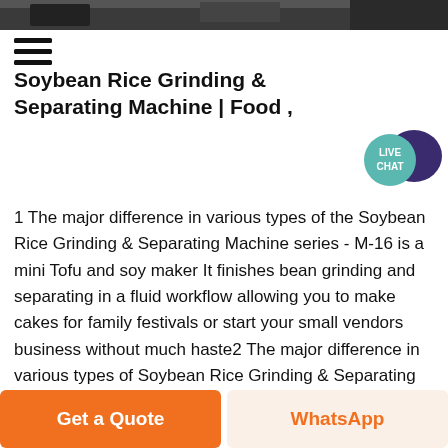[Figure (photo): Top partial image of industrial machinery, dark/grey tones]
Soybean Rice Grinding & Separating Machine | Food ,
[Figure (infographic): Live Chat speech bubble icon in teal/dark blue]
1 The major difference in various types of the Soybean Rice Grinding & Separating Machine series - M-16 is a mini Tofu and soy maker It finishes bean grinding and separating in a fluid workflow allowing you to make cakes for family festivals or start your small vendors business without much haste2 The major difference in various types of Soybean Rice Grinding & Separating Machine Series ,
[Figure (photo): Bottom partial image of industrial machinery, dark tones]
Chat Online
Get a Quote
WhatsApp